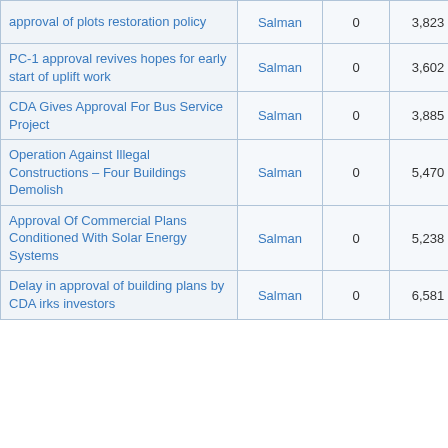| Topic | Author | Replies | Views | Last Post |
| --- | --- | --- | --- | --- |
| approval of plots restoration policy | Salman | 0 | 3,823 | 02-13-2014 12:23 PM
Last Post: Salman |
| PC-1 approval revives hopes for early start of uplift work | Salman | 0 | 3,602 | 02-11-2014 12:25 PM
Last Post: Salman |
| CDA Gives Approval For Bus Service Project | Salman | 0 | 3,885 | 01-02-2014 01:24 PM
Last Post: Salman |
| Operation Against Illegal Constructions – Four Buildings Demolish | Salman | 0 | 5,470 | 12-04-2013 01:37 PM
Last Post: Salman |
| Approval Of Commercial Plans Conditioned With Solar Energy Systems | Salman | 0 | 5,238 | 12-03-2013 04:37 PM
Last Post: Salman |
| Delay in approval of building plans by CDA irks investors | Salman | 0 | 6,581 | 11-29-2013 01:17 PM
Last Post: Salman |